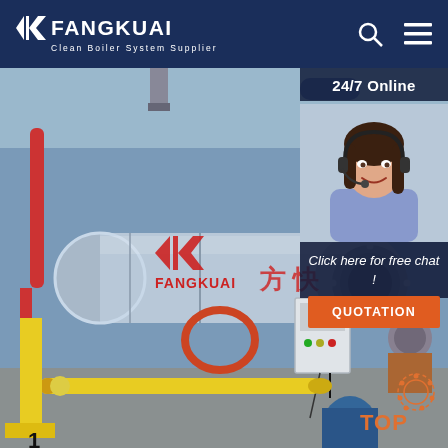[Figure (logo): Fangkuai logo with triangle icon and tagline 'Clean Boiler System Supplier' on dark blue background]
[Figure (photo): Large industrial Fangkuai-branded horizontal fire-tube boiler in a factory setting, with yellow and red pipes, control panel, and Chinese characters 方快]
24/7 Online
[Figure (photo): Customer service agent woman wearing headset, smiling]
Click here for free chat !
QUOTATION
[Figure (illustration): TOP badge with orange gear/dots motif]